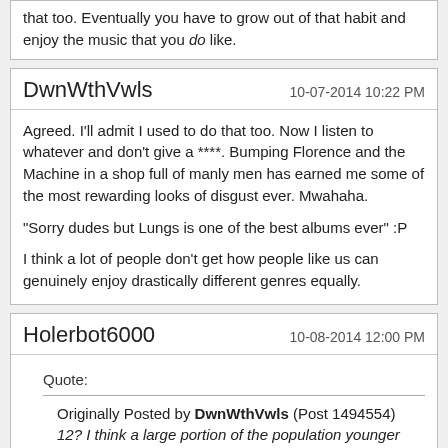that too. Eventually you have to grow out of that habit and enjoy the music that you do like.
DwnWthVwls
10-07-2014 10:22 PM

Agreed. I'll admit I used to do that too. Now I listen to whatever and don't give a ****. Bumping Florence and the Machine in a shop full of manly men has earned me some of the most rewarding looks of disgust ever. Mwahaha.

"Sorry dudes but Lungs is one of the best albums ever" :P

I think a lot of people don't get how people like us can genuinely enjoy drastically different genres equally.
Holerbot6000
10-08-2014 12:00 PM

Quote:
Originally Posted by DwnWthVwls (Post 1494554)
12? I think a large portion of the population younger than 30 listens to modern mainstream HipPop.

I stand corrected. Clearly there are a lot more people listening to crappy generic 'Pop-Hop' than I realized. :usehead: